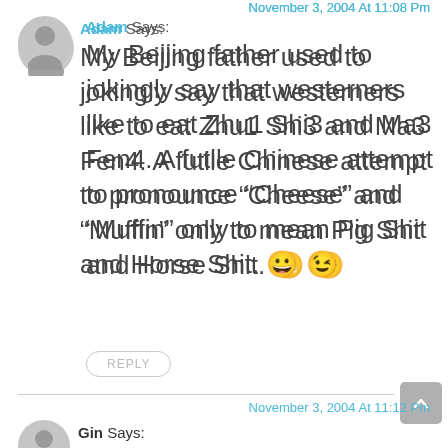November 3, 2004 At 11:08 Pm
Adam Says:
My Beijing father used to jokingly say that westerners like to eat Zhu1 Shi3 and Ma3 Fen4. A futile Chinese attempt to pronounce “Cheese” and “Muffin” only to mean Pig Shit and Horse Shit. 😁 😁
REPLY
November 3, 2004 At 11:12 Pm
Gin Says: